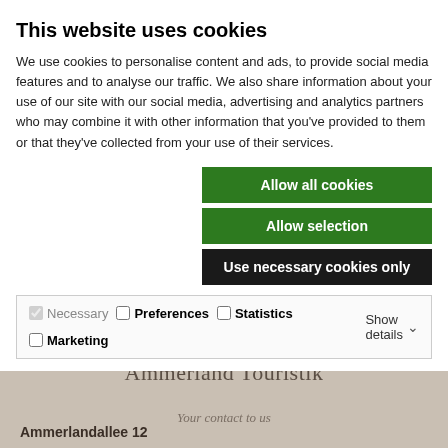This website uses cookies
We use cookies to personalise content and ads, to provide social media features and to analyse our traffic. We also share information about your use of our site with our social media, advertising and analytics partners who may combine it with other information that you've provided to them or that they've collected from your use of their services.
Allow all cookies
Allow selection
Use necessary cookies only
Necessary  Preferences  Statistics  Marketing  Show details
Ammerland Touristik
Your contact to us
Ammerlandallee 12